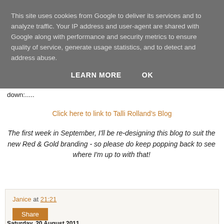This site uses cookies from Google to deliver its services and to analyze traffic. Your IP address and user-agent are shared with Google along with performance and security metrics to ensure quality of service, generate usage statistics, and to detect and address abuse.
LEARN MORE    OK
down:.....
Click here to link to Talli Rolland's Blog
The first week in September, I'll be re-designing this blog to suit the new Red & Gold branding - so please do keep popping back to see where I'm up to with that!
Janice at 21:21
Share
Saturday, 20 August 2011